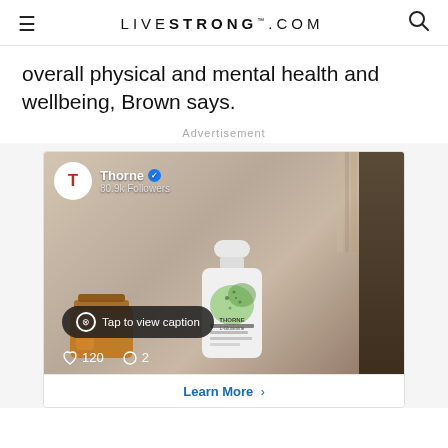LIVESTRONG.COM
overall physical and mental health and wellbeing, Brown says.
Advertisement
[Figure (screenshot): Advertisement from Thorne showing an Instagram-style post with a supplement bottle (Thorne L-Glutamine) and an amber glass jar. Profile shows 'Thorne' with verified badge and 80.9k Followers. A 'Tap to view caption' overlay is shown, with 120 likes and 2 comments. A 'Learn More' button appears below.]